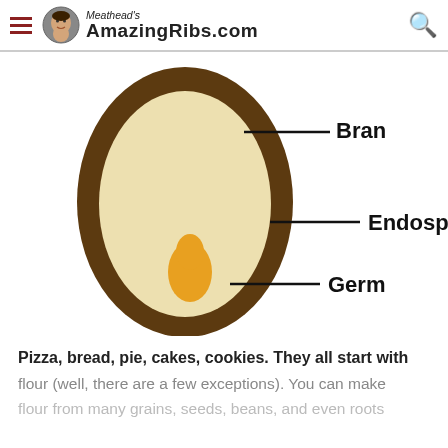Meathead's AmazingRibs.com
[Figure (illustration): Cross-section diagram of a grain kernel (wheat berry) showing three labeled parts: Bran (outer dark brown layer), Endosperm (large pale inner section), and Germ (small orange teardrop-shaped section at the bottom). Labels are connected by horizontal lines.]
Pizza, bread, pie, cakes, cookies. They all start with flour (well, there are a few exceptions). You can make flour from many grains, seeds, beans, and even roots